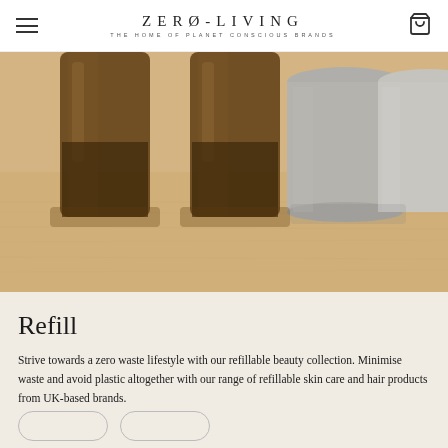ZERØ-LIVING — THE HOME OF PLANET CONSCIOUS BRANDS
[Figure (photo): Close-up photo of amber/brown glass refill bottles and grey concrete-style containers on a light wood surface]
Refill
Strive towards a zero waste lifestyle with our refillable beauty collection. Minimise waste and avoid plastic altogether with our range of refillable skin care and hair products from UK-based brands.